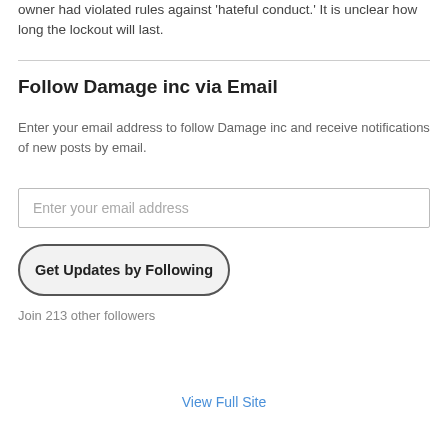owner had violated rules against 'hateful conduct.' It is unclear how long the lockout will last.
Follow Damage inc via Email
Enter your email address to follow Damage inc and receive notifications of new posts by email.
Enter your email address
Get Updates by Following
Join 213 other followers
View Full Site